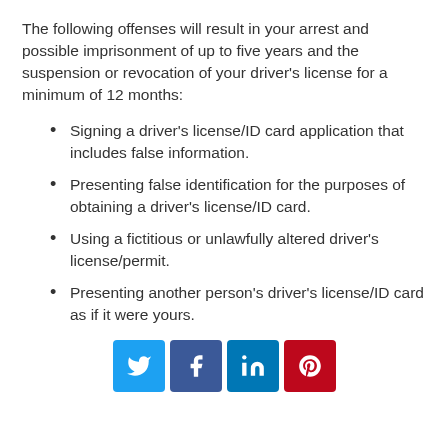The following offenses will result in your arrest and possible imprisonment of up to five years and the suspension or revocation of your driver's license for a minimum of 12 months:
Signing a driver's license/ID card application that includes false information.
Presenting false identification for the purposes of obtaining a driver's license/ID card.
Using a fictitious or unlawfully altered driver's license/permit.
Presenting another person's driver's license/ID card as if it were yours.
[Figure (infographic): Social media share buttons: Twitter (blue), Facebook (dark blue), LinkedIn (blue), Pinterest (red)]